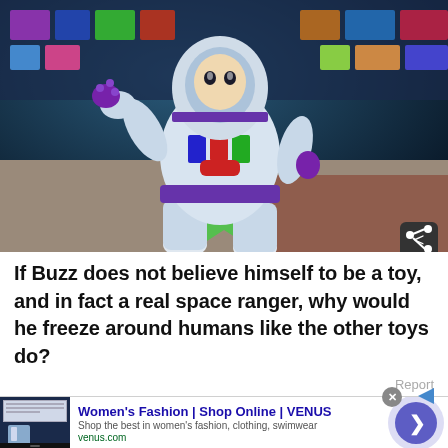[Figure (photo): Screenshot from Toy Story animated film showing Buzz Lightyear action figure/character in a store setting, with green star shape on floor behind him. Share button overlay in bottom-right corner.]
If Buzz does not believe himself to be a toy, and in fact a real space ranger, why would he freeze around humans like the other toys do?
Report
[Figure (screenshot): Advertisement for Women's Fashion at venus.com. Title: Women's Fashion | Shop Online | VENUS. Description: Shop the best in women's fashion, clothing, swimwear. URL: venus.com. Has thumbnail image and circular chevron button.]